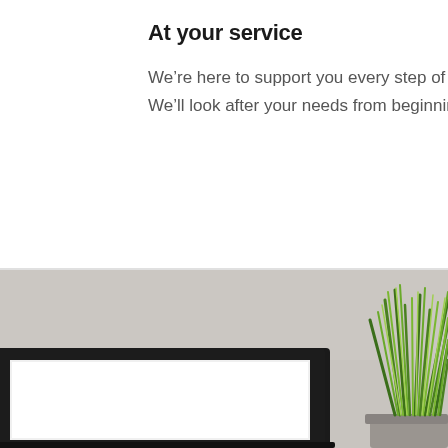At your service
We’re here to support you every step of the way. We’ll look after your needs from beginning to end.
[Figure (photo): Desk scene showing a laptop computer with black frame and white screen on the left, and a green potted grass plant on the right, against a light grey/beige background.]